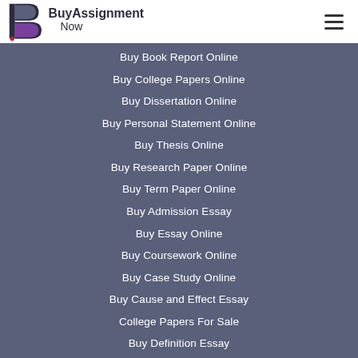[Figure (logo): BuyAssignmentNow logo with stylized B icon in purple and dark colors, text reads BuyAssignment Now]
Buy Book Report Online
Buy College Papers Online
Buy Dissertation Online
Buy Personal Statement Online
Buy Thesis Online
Buy Research Paper Online
Buy Term Paper Online
Buy Admission Essay
Buy Essay Online
Buy Coursework Online
Buy Case Study Online
Buy Cause and Effect Essay
College Papers For Sale
Buy Definition Essay